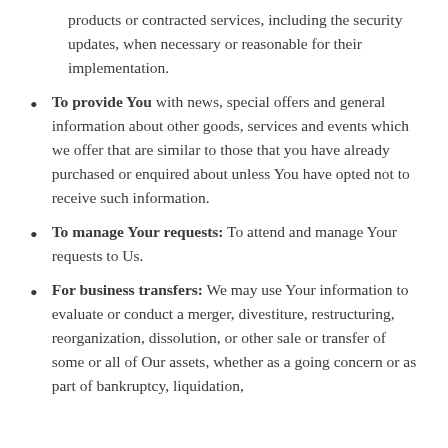products or contracted services, including the security updates, when necessary or reasonable for their implementation.
To provide You with news, special offers and general information about other goods, services and events which we offer that are similar to those that you have already purchased or enquired about unless You have opted not to receive such information.
To manage Your requests: To attend and manage Your requests to Us.
For business transfers: We may use Your information to evaluate or conduct a merger, divestiture, restructuring, reorganization, dissolution, or other sale or transfer of some or all of Our assets, whether as a going concern or as part of bankruptcy, liquidation,